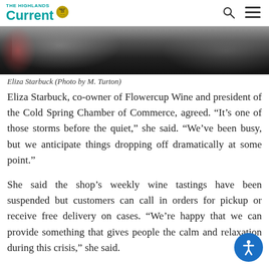The Highlands Current
[Figure (photo): Close-up photo of Eliza Starbuck, partially visible, dark and grey tones, appears to be a portrait shot from a news article.]
Eliza Starbuck (Photo by M. Turton)
Eliza Starbuck, co-owner of Flowercup Wine and president of the Cold Spring Chamber of Commerce, agreed. “It’s one of those storms before the quiet,” she said. “We’ve been busy, but we anticipate things dropping off dramatically at some point.”
She said the shop’s weekly wine tastings have been suspended but customers can call in orders for pickup or receive free delivery on cases. “We’re happy that we can provide something that gives people the calm and relaxation during this crisis,” she said.